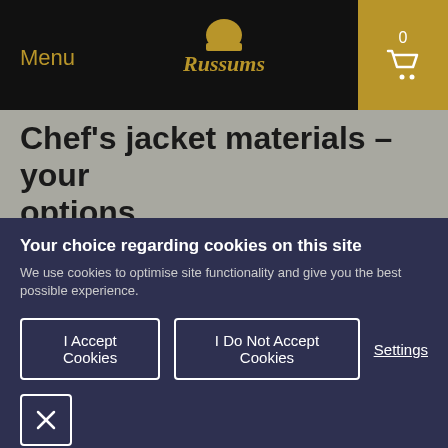Menu | Russums | 0
Chef's jacket materials – your options
Most chef's jackets are made of:
cotton
polycotton (a cotton polyester blend)
Your choice regarding cookies on this site
We use cookies to optimise site functionality and give you the best possible experience.
I Accept Cookies | I Do Not Accept Cookies | Settings